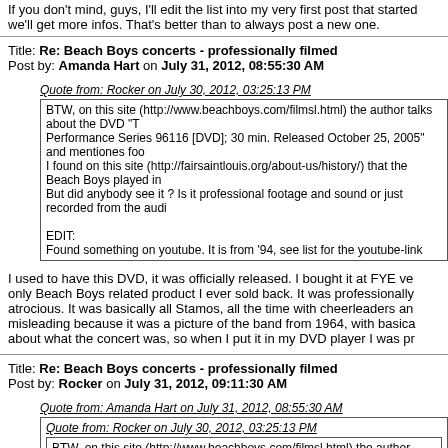If you don't mind, guys, I'll edit the list into my very first post that started we'll get more infos. That's better than to always post a new one.
Title: Re: Beach Boys concerts - professionally filmed
Post by: Amanda Hart on July 31, 2012, 08:55:30 AM
Quote from: Rocker on July 30, 2012, 03:25:13 PM
BTW, on this site (http://www.beachboys.com/filmsl.html) the author talks about the DVD "T Performance Series 96116 [DVD]; 30 min. Released October 25, 2005" and mentiones foo I found on this site (http://fairsaintlouis.org/about-us/history/) that the Beach Boys played in But did anybody see it ? Is it professional footage and sound or just recorded from the audi

EDIT:
Found something on youtube. It is from '94, see list for the youtube-link
I used to have this DVD, it was officially released. I bought it at FYE ve only Beach Boys related product I ever sold back. It was professionally atrocious. It was basically all Stamos, all the time with cheerleaders an misleading because it was a picture of the band from 1964, with basica about what the concert was, so when I put it in my DVD player I was pr
Title: Re: Beach Boys concerts - professionally filmed
Post by: Rocker on July 31, 2012, 09:11:30 AM
Quote from: Amanda Hart on July 31, 2012, 08:55:30 AM
Quote from: Rocker on July 30, 2012, 03:25:13 PM
BTW, on this site (http://www.beachboys.com/filmsl.html) the author talks about the DVD "T Performance Series 96116 [DVD]; 30 min. Released October 25, 2005" and mentiones foo 1993. I found on this site (http://fairsaintlouis.org/about-us/history/) that the Beach Boys pla footage. But did anybody see it ? Is it professional footage and sound or just recorded from

EDIT: